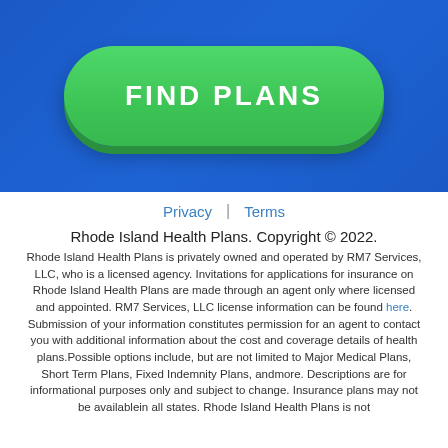[Figure (other): Green rounded button labeled FIND PLANS on a blue gradient background]
Privacy | Terms
Rhode Island Health Plans. Copyright © 2022.
Rhode Island Health Plans is privately owned and operated by RM7 Services, LLC, who is a licensed agency. Invitations for applications for insurance on Rhode Island Health Plans are made through an agent only where licensed and appointed. RM7 Services, LLC license information can be found here. Submission of your information constitutes permission for an agent to contact you with additional information about the cost and coverage details of health plans.Possible options include, but are not limited to Major Medical Plans, Short Term Plans, Fixed Indemnity Plans, andmore. Descriptions are for informational purposes only and subject to change. Insurance plans may not be availablein all states. Rhode Island Health Plans is not